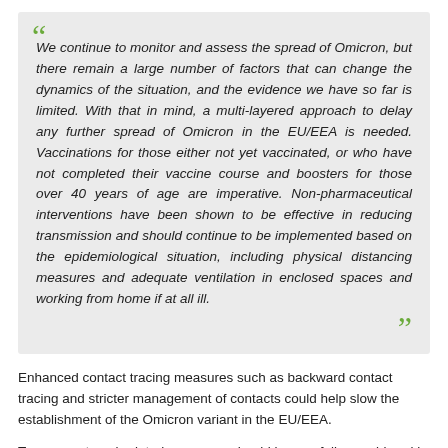We continue to monitor and assess the spread of Omicron, but there remain a large number of factors that can change the dynamics of the situation, and the evidence we have so far is limited. With that in mind, a multi-layered approach to delay any further spread of Omicron in the EU/EEA is needed. Vaccinations for those either not yet vaccinated, or who have not completed their vaccine course and boosters for those over 40 years of age are imperative. Non-pharmaceutical interventions have been shown to be effective in reducing transmission and should continue to be implemented based on the epidemiological situation, including physical distancing measures and adequate ventilation in enclosed spaces and working from home if at all ill.
Enhanced contact tracing measures such as backward contact tracing and stricter management of contacts could help slow the establishment of the Omicron variant in the EU/EEA.
Temporary travel-related measures should be carefully considered in light of the latest epidemiological situation and should be regularly reviewed as new evidence emerges. Such measures might include the testing and